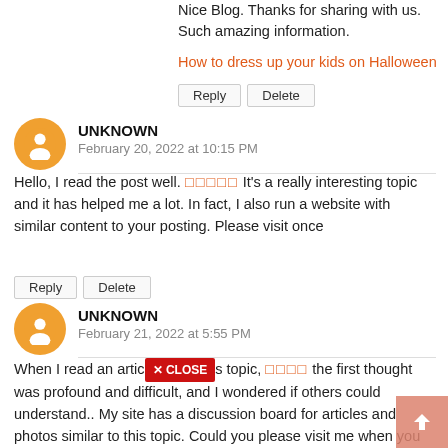Nice Blog. Thanks for sharing with us. Such amazing information.
How to dress up your kids on Halloween
Reply   Delete
UNKNOWN
February 20, 2022 at 10:15 PM
Hello, I read the post well. □□□□□ It's a really interesting topic and it has helped me a lot. In fact, I also run a website with similar content to your posting. Please visit once
Reply   Delete
UNKNOWN
February 21, 2022 at 5:55 PM
When I read an article on this topic, □□□□ the first thought was profound and difficult, and I wondered if others could understand.. My site has a discussion board for articles and photos similar to this topic. Could you please visit me when you have time to discuss this topic?